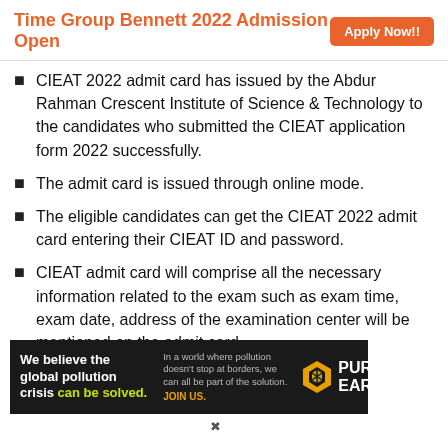Time Group Bennett 2022 Admission Open  Apply Now!!
CIEAT 2022 admit card has issued by the Abdur Rahman Crescent Institute of Science & Technology to the candidates who submitted the CIEAT application form 2022 successfully.
The admit card is issued through online mode.
The eligible candidates can get the CIEAT 2022 admit card entering their CIEAT ID and password.
CIEAT admit card will comprise all the necessary information related to the exam such as exam time, exam date, address of the examination center will be mentioned on the admit card.
[Figure (infographic): Pure Earth advertisement banner: 'We believe the global pollution crisis can be solved.' with tagline 'In a world where pollution doesn't stop at borders, we can all be part of the solution. JOIN US.' and Pure Earth logo.]